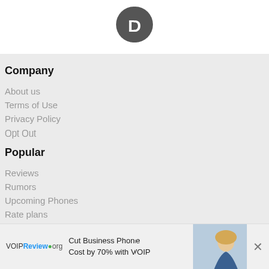[Figure (logo): Disqus logo: dark grey speech bubble circle with white D letter]
Company
About us
Terms of Use
Privacy Policy
Opt Out
Popular
Reviews
Rumors
Upcoming Phones
Rate plans
[Figure (illustration): Facebook circular icon - dark navy blue circle with white f letter]
[Figure (illustration): Twitter circular icon - teal circle with white bird]
[Figure (illustration): YouTube circular icon - red circle with You text]
VOIPReview.org  Cut Business Phone Cost by 70% with VOIP